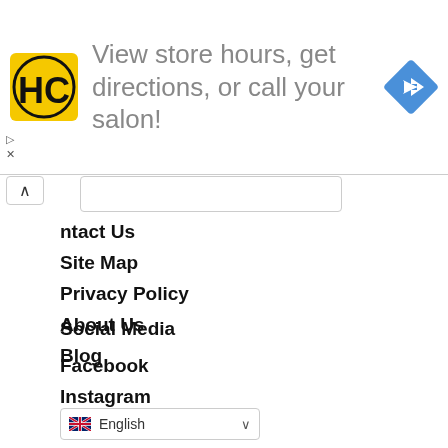[Figure (infographic): Advertisement banner with HC logo (yellow background, black H and C letters), text 'View store hours, get directions, or call your salon!', and a blue diamond navigation arrow icon on the right.]
Contact Us
Site Map
Privacy Policy
About Us
Blog
Social Media
Facebook
Instagram
Youtube
English